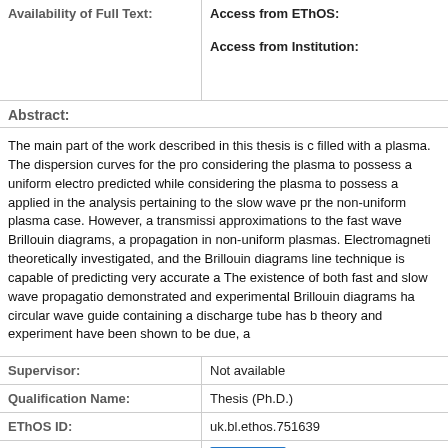| Availability of Full Text: |  |
| --- | --- |
|  | Access from EThOS:
Access from Institution: |
Abstract:
The main part of the work described in this thesis is c filled with a plasma. The dispersion curves for the pro considering the plasma to possess a uniform electro predicted while considering the plasma to possess a applied in the analysis pertaining to the slow wave pr the non-uniform plasma case. However, a transmissi approximations to the fast wave Brillouin diagrams, a propagation in non-uniform plasmas. Electromagneti theoretically investigated, and the Brillouin diagrams line technique is capable of predicting very accurate a The existence of both fast and slow wave propagatio demonstrated and experimental Brillouin diagrams ha circular wave guide containing a discharge tube has b theory and experiment have been shown to be due, a
| Supervisor: | Not available |
| --- | --- |
| Qualification Name: | Thesis (Ph.D.) |
| EThOS ID: | uk.bl.ethos.751639 |
| Share: |  |